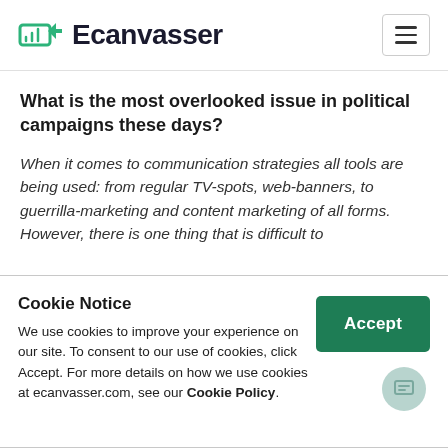Ecanvasser
What is the most overlooked issue in political campaigns these days?
When it comes to communication strategies all tools are being used: from regular TV-spots, web-banners, to guerrilla-marketing and content marketing of all forms. However, there is one thing that is difficult to
Cookie Notice
We use cookies to improve your experience on our site. To consent to our use of cookies, click Accept. For more details on how we use cookies at ecanvasser.com, see our Cookie Policy.
This is evident on two points. First, parties all over the